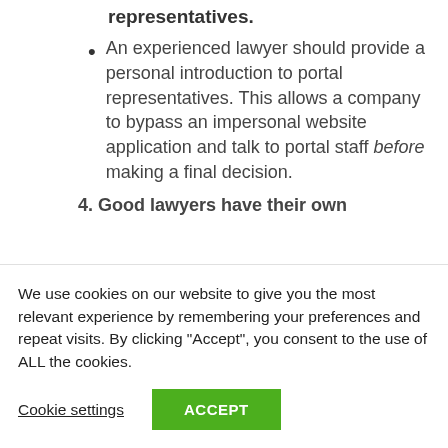representatives.
An experienced lawyer should provide a personal introduction to portal representatives. This allows a company to bypass an impersonal website application and talk to portal staff before making a final decision.
4. Good lawyers have their own
We use cookies on our website to give you the most relevant experience by remembering your preferences and repeat visits. By clicking “Accept”, you consent to the use of ALL the cookies.
Cookie settings
ACCEPT